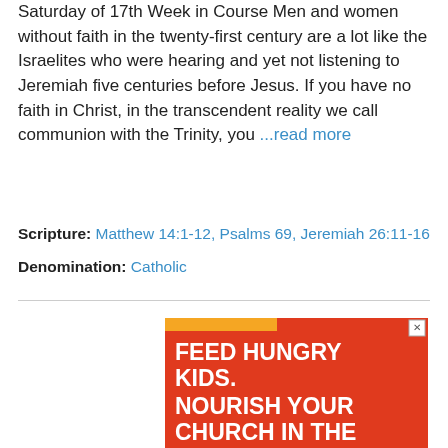Saturday of 17th Week in Course Men and women without faith in the twenty-first century are a lot like the Israelites who were hearing and yet not listening to Jeremiah five centuries before Jesus. If you have no faith in Christ, in the transcendent reality we call communion with the Trinity, you ...read more
Scripture: Matthew 14:1-12, Psalms 69, Jeremiah 26:11-16
Denomination: Catholic
[Figure (infographic): Advertisement banner with orange and red background. Text reads: FEED HUNGRY KIDS. NOURISH YOUR CHURCH IN THE PROCES. With a LEARN MORE button in orange. Photo of a young child smiling. Seven Saves logo in bottom right.]